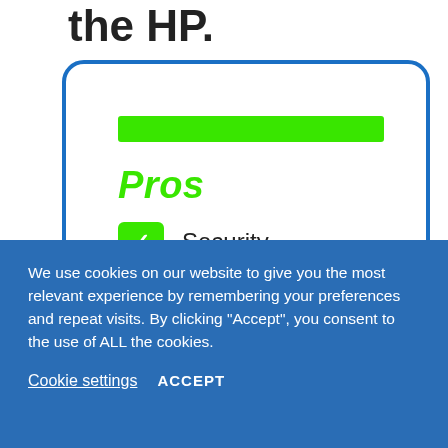the HP.
[Figure (infographic): A white rounded box with a blue border containing a green horizontal bar at top, a bold italic green 'Pros' heading, and three checklist items with green checkmark boxes: Security, Speed, Reliability.]
We use cookies on our website to give you the most relevant experience by remembering your preferences and repeat visits. By clicking “Accept”, you consent to the use of ALL the cookies.
Cookie settings
ACCEPT